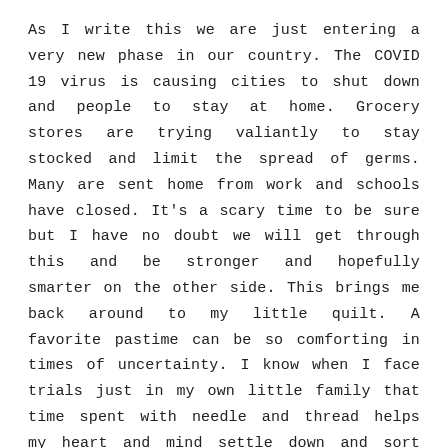As I write this we are just entering a very new phase in our country. The COVID 19 virus is causing cities to shut down and people to stay at home. Grocery stores are trying valiantly to stay stocked and limit the spread of germs. Many are sent home from work and schools have closed. It's a scary time to be sure but I have no doubt we will get through this and be stronger and hopefully smarter on the other side. This brings me back around to my little quilt. A favorite pastime can be so comforting in times of uncertainty. I know when I face trials just in my own little family that time spent with needle and thread helps my heart and mind settle down and sort things out. It doesn't usually make the situation better but it gives me clarity of mind and helps me better handle the situation. I believe it must certainly have